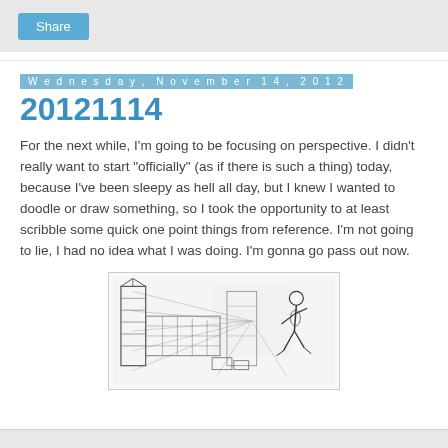Share
Wednesday, November 14, 2012
20121114
For the next while, I'm going to be focusing on perspective. I didn't really want to start "officially" (as if there is such a thing) today, because I've been sleepy as hell all day, but I knew I wanted to doodle or draw something, so I took the opportunity to at least scribble some quick one point things from reference. I'm not going to lie, I had no idea what I was doing. I'm gonna go pass out now.
[Figure (illustration): A pencil sketch showing a one-point perspective street scene with buildings on the left and a running figure on the right.]